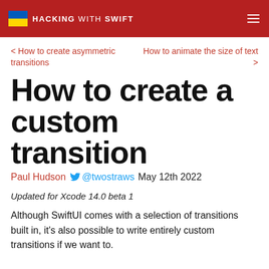HACKING WITH SWIFT
< How to create asymmetric transitions
How to animate the size of text >
How to create a custom transition
Paul Hudson  @twostraws  May 12th 2022
Updated for Xcode 14.0 beta 1
Although SwiftUI comes with a selection of transitions built in, it's also possible to write entirely custom transitions if we want to.